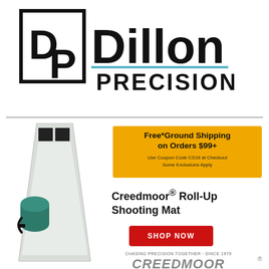[Figure (logo): Dillon Precision logo with DP initials in a square box and bold Dillon text with blue underline and PRECISION below]
[Figure (illustration): Creedmoor Roll-Up Shooting Mat product photo showing unrolled mat (light grey/white with two black squares at top) and rolled green mat with handle strap]
Free*Ground Shipping on Orders $99+
Use Coupon Code CS19 at Checkout
Some Exclusions Apply
Creedmoor® Roll-Up Shooting Mat
SHOP NOW
[Figure (logo): Creedmoor logo with tagline CHASING PRECISION TOGETHER - SINCE 1979 and stylized CREEDMOOR® text in grey with curved letters]